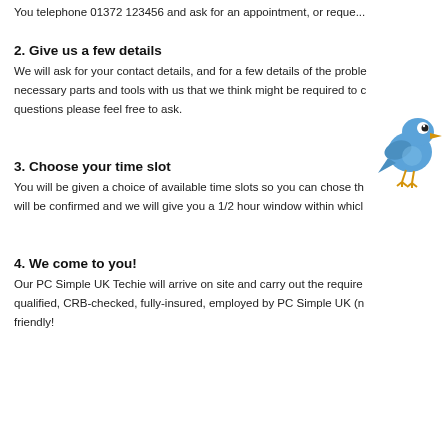You telephone 01372 123456 and ask for an appointment, or reque...
2. Give us a few details
We will ask for your contact details, and for a few details of the problem. necessary parts and tools with us that we think might be required to carry out the work. questions please feel free to ask.
[Figure (illustration): Blue cartoon bird illustration]
3. Choose your time slot
You will be given a choice of available time slots so you can chose th... will be confirmed and we will give you a 1/2 hour window within whic...
4. We come to you!
Our PC Simple UK Techie will arrive on site and carry out the require... qualified, CRB-checked, fully-insured, employed by PC Simple UK (n... friendly!